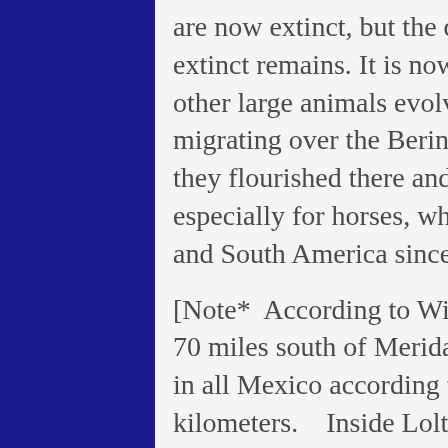are now extinct, but the question of when and why they became extinct remains. It is now believed that horses, elephants, and other large animals evolved in the Americas first before migrating over the Bering Land Bridge to Asia long ago. Why they flourished there and died out here is still a mystery, especially for horses, which have thrived in the wilds of North and South America since being re-introduced by Europeans.
[Note*  According to Wikipedia, Loltun cave is located about 70 miles south of Merida.  It is one of the most extensive caves in all Mexico according to prolonged examinations of over two kilometers.   Inside Loltún